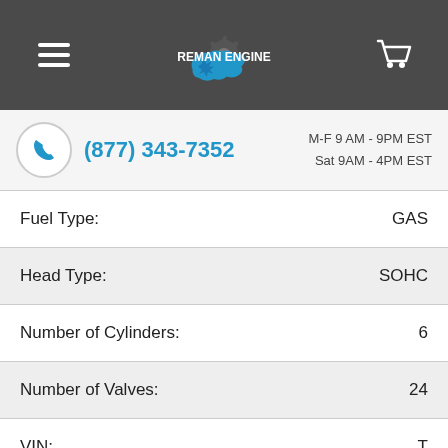Reman Engine
(877) 343-7352 | M-F 9 AM - 9PM EST | Sat 9AM - 4PM EST
| Attribute | Value |
| --- | --- |
| Fuel Type: | GAS |
| Head Type: | SOHC |
| Number of Cylinders: | 6 |
| Number of Valves: | 24 |
| VIN: | T |
Trustpilot Reviews